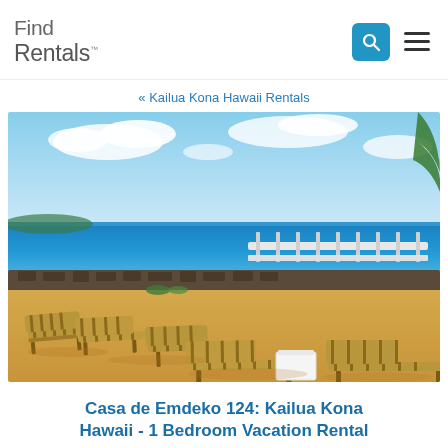Find Rentals
« Kailua Kona Hawaii Rentals
[Figure (photo): Beach scene with lounge chairs on sandy beach, ocean in the background, lava rock wall, and tropical setting in Kailua Kona, Hawaii.]
Casa de Emdeko 124: Kailua Kona Hawaii - 1 Bedroom Vacation Rental